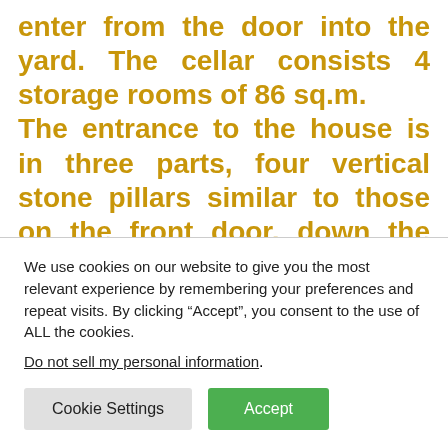enter from the door into the yard. The cellar consists 4 storage rooms of 86 sq.m. The entrance to the house is in three parts, four vertical stone pillars similar to those on the front door, down the three parts, with a horizontal beam separates the stone bottom of the door and
We use cookies on our website to give you the most relevant experience by remembering your preferences and repeat visits. By clicking “Accept”, you consent to the use of ALL the cookies.
Do not sell my personal information.